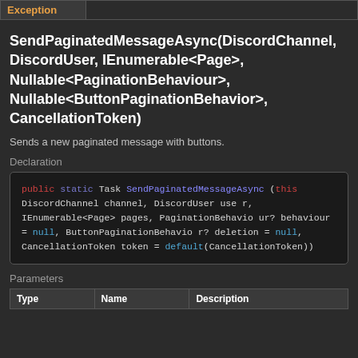| Exception |  |
| --- | --- |
SendPaginatedMessageAsync(DiscordChannel, DiscordUser, IEnumerable<Page>, Nullable<PaginationBehaviour>, Nullable<ButtonPaginationBehavior>, CancellationToken)
Sends a new paginated message with buttons.
Declaration
public static Task SendPaginatedMessageAsync
(this DiscordChannel channel, DiscordUser user, IEnumerable<Page> pages, PaginationBehaviour? behaviour = null, ButtonPaginationBehavior? deletion = null, CancellationToken token = default(CancellationToken))
Parameters
| Type | Name | Description |
| --- | --- | --- |